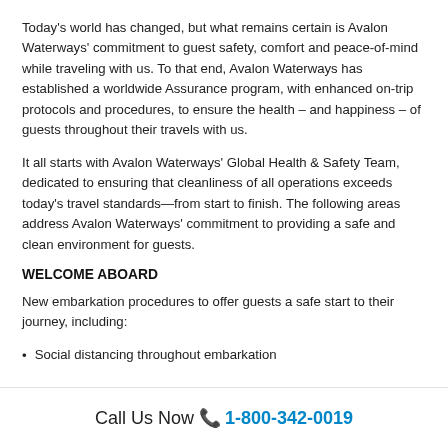Today's world has changed, but what remains certain is Avalon Waterways' commitment to guest safety, comfort and peace-of-mind while traveling with us. To that end, Avalon Waterways has established a worldwide Assurance program, with enhanced on-trip protocols and procedures, to ensure the health – and happiness – of guests throughout their travels with us.
It all starts with Avalon Waterways' Global Health & Safety Team, dedicated to ensuring that cleanliness of all operations exceeds today's travel standards—from start to finish. The following areas address Avalon Waterways' commitment to providing a safe and clean environment for guests.
WELCOME ABOARD
New embarkation procedures to offer guests a safe start to their journey, including:
Social distancing throughout embarkation
Call Us Now 📞 1-800-342-0019